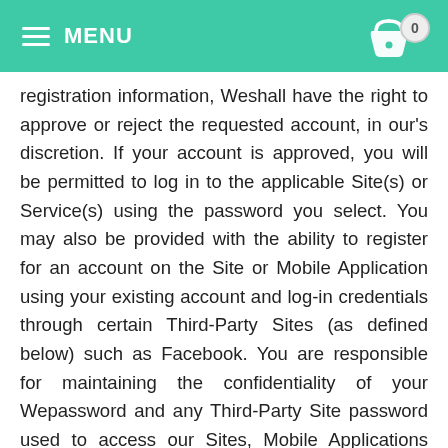MENU
registration information, Weshall have the right to approve or reject the requested account, in our's discretion. If your account is approved, you will be permitted to log in to the applicable Site(s) or Service(s) using the password you select. You may also be provided with the ability to register for an account on the Site or Mobile Application using your existing account and log-in credentials through certain Third-Party Sites (as defined below) such as Facebook. You are responsible for maintaining the confidentiality of your Wepassword and any Third-Party Site password used to access our Sites, Mobile Applications and/or Services (collectively, “Passwords”), and you are responsible for all activities that occur using your Passwords. You agree not to